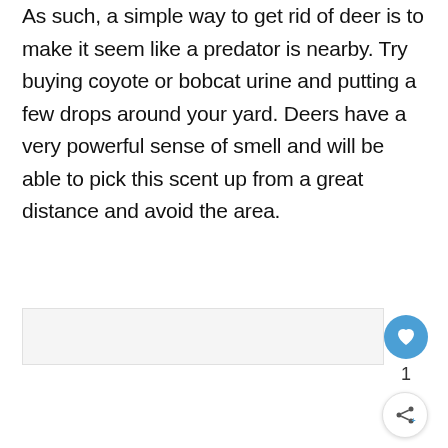As such, a simple way to get rid of deer is to make it seem like a predator is nearby. Try buying coyote or bobcat urine and putting a few drops around your yard. Deers have a very powerful sense of smell and will be able to pick this scent up from a great distance and avoid the area.
[Figure (other): Light gray content placeholder box with social action buttons: a blue heart/like button, a count of 1, and a share button on the right side]
[Figure (other): Advertisement banner at the bottom of the page on a black background. Shows a person illustration and text 'Actions speak louder than words.' with a brand logo on the right and a close button.]